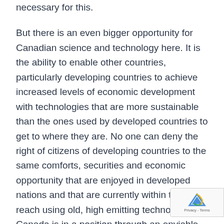necessary for this.
But there is an even bigger opportunity for Canadian science and technology here. It is the ability to enable other countries, particularly developing countries to achieve increased levels of economic development with technologies that are more sustainable than the ones used by developed countries to get to where they are. No one can deny the right of citizens of developing countries to the same comforts, securities and economic opportunity that are enjoyed in developed nations and that are currently within their reach using old, high emitting technologies. Canada is in a position through an enviable innovation ecosystem to offer better options to the world for doing everything